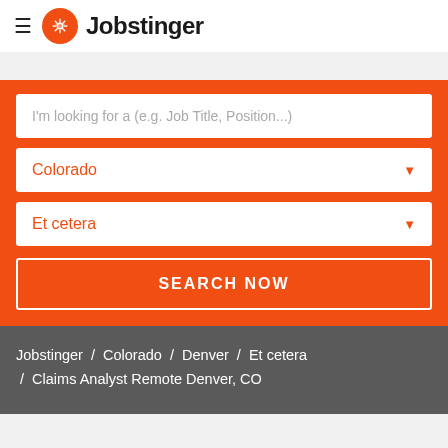≡ Jobstinger
I'm looking for a (e.g. Job Title, Position...)
Colorado
Et cetera
SEARCH NOW
Jobstinger / Colorado / Denver / Et cetera / Claims Analyst Remote Denver, CO